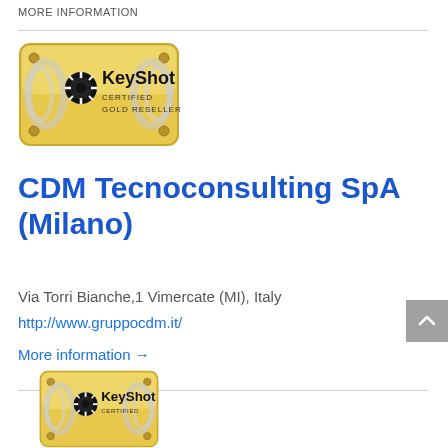more information
[Figure (logo): KeyShot Certified Gold Reseller badge - gold plaque with laurel wreath and KeyShot logo]
CDM Tecnoconsulting SpA (Milano)
Via Torri Bianche,1 Vimercate (MI), Italy
http://www.gruppocdm.it/
More information →
[Figure (logo): KeyShot Certified badge (partially visible) - gold plaque with laurel wreath and KeyShot logo]